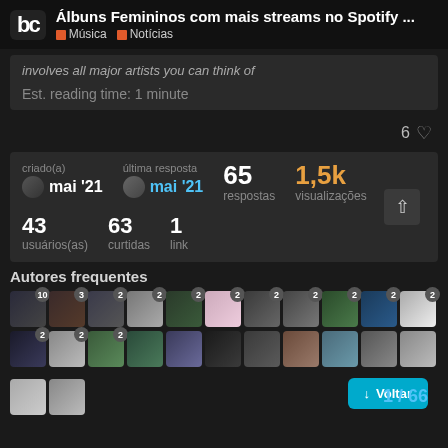Álbuns Femininos com mais streams no Spotify ...
Música   Notícias
involves all major artists you can think of
Est. reading time: 1 minute
6 ♡
| criado(a) | última resposta | 65 respostas | 1,5k visualizações |
| --- | --- | --- | --- |
| mai '21 | mai '21 |  |  |
| 43 usuários(as) | 63 curtidas | 1 link |  |
Autores frequentes
[Figure (photo): Grid of user avatars with post counts as badges, including counts like 10, 3, 2, etc.]
↓ Voltar
1 / 66